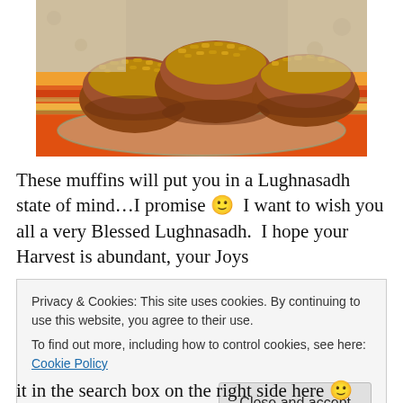[Figure (photo): Photo of golden-brown muffins with walnut streusel topping on a colorful orange plaid cloth on a glass plate]
These muffins will put you in a Lughnasadh state of mind…I promise 🙂  I want to wish you all a very Blessed Lughnasadh.  I hope your Harvest is abundant, your Joys
Privacy & Cookies: This site uses cookies. By continuing to use this website, you agree to their use.
To find out more, including how to control cookies, see here: Cookie Policy
it in the search box on the right side here 🙂